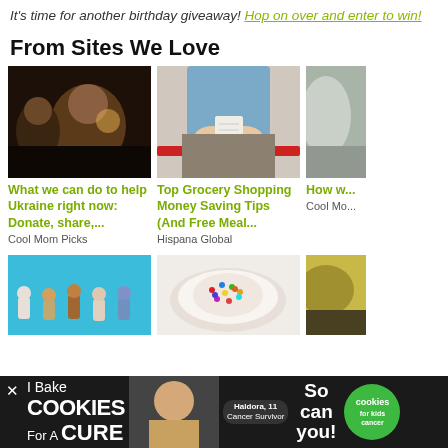It's time for another birthday giveaway! Hop on over and enter to win!
From Sites We Love
[Figure (photo): Two men photographed at night outdoors]
What we can do to help Ukraine right now: Donate, share,... | Cool Mom Picks
[Figure (photo): Person holding a grocery receipt at a checkout lane with a red divider bar]
Top Grocery Shopping Money Saving Tips (And Free Meal... | Hispana Global
[Figure (photo): Partial image of a blue or gray background with indistinct subject]
How wo... transge... and thr... | Cool Mor...
[Figure (photo): Blue background with small toy figurines]
[Figure (photo): Plate of cookies or dessert with colorful sprinkles]
[Figure (photo): Bowl of yellow food, partially visible]
[Figure (infographic): Advertisement banner: I Bake Cookies For A Cure – Haldora 11 Cancer Survivor – So can you! – cookies for kids cancer logo]